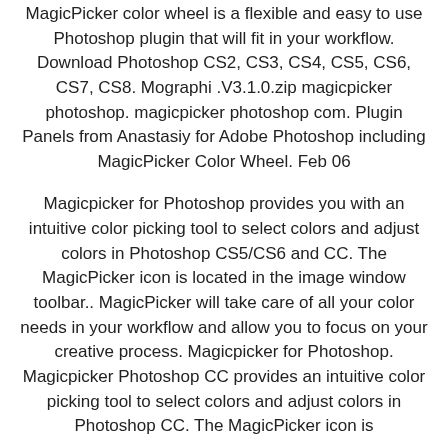MagicPicker color wheel is a flexible and easy to use Photoshop plugin that will fit in your workflow. Download Photoshop CS2, CS3, CS4, CS5, CS6, CS7, CS8. Mographi .V3.1.0.zip magicpicker photoshop. magicpicker photoshop com. Plugin Panels from Anastasiy for Adobe Photoshop including MagicPicker Color Wheel. Feb 06
Magicpicker for Photoshop provides you with an intuitive color picking tool to select colors and adjust colors in Photoshop CS5/CS6 and CC. The MagicPicker icon is located in the image window toolbar.. MagicPicker will take care of all your color needs in your workflow and allow you to focus on your creative process. Magicpicker for Photoshop. Magicpicker Photoshop CC provides an intuitive color picking tool to select colors and adjust colors in Photoshop CC. The MagicPicker icon is